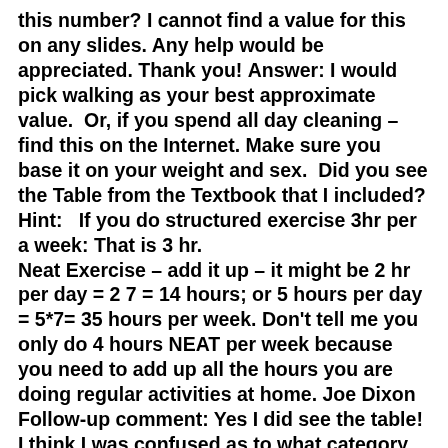this number? I cannot find a value for this on any slides. Any help would be appreciated. Thank you! Answer: I would pick walking as your best approximate value.  Or, if you spend all day cleaning – find this on the Internet. Make sure you base it on your weight and sex.  Did you see the Table from the Textbook that I included? Hint:   If you do structured exercise 3hr per a week: That is 3 hr. Neat Exercise – add it up – it might be 2 hr per day = 2 7 = 14 hours; or 5 hours per day = 5*7= 35 hours per week. Don't tell me you only do 4 hours NEAT per week because you need to add up all the hours you are doing regular activities at home. Joe Dixon Follow-up comment: Yes I did see the table! I think I was confused as to what category to use, so I will use walking and maybe factor in cleaning. Thank you for